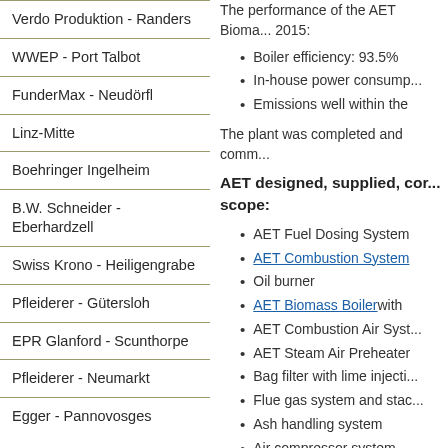Verdo Produktion - Randers
WWEP - Port Talbot
FunderMax - Neudörfl
Linz-Mitte
Boehringer Ingelheim
B.W. Schneider - Eberhardzell
Swiss Krono - Heiligengrabe
Pfleiderer - Gütersloh
EPR Glanford - Scunthorpe
Pfleiderer - Neumarkt
Egger - Pannovosges
The performance of the AET Bioma... 2015:
Boiler efficiency: 93.5%
In-house power consump...
Emissions well within the...
The plant was completed and comm...
AET designed, supplied, cor... scope:
AET Fuel Dosing System
AET Combustion System
Oil burner
AET Biomass Boiler with
AET Combustion Air Syst...
AET Steam Air Preheater
Bag filter with lime injecti...
Flue gas system and stac...
Ash handling system
Air compressor system
Waste water treatment
Piping and ducting
Insulation
Structural steel for boile...